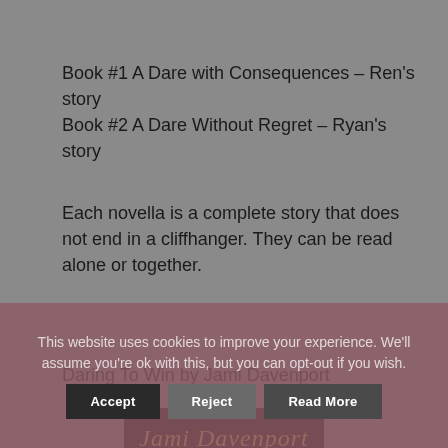Book #1 A Dare with Consequences – Ren's story
Book #2 A Dare Without Regret – Ryan's story
Each novella is a complete story that does not end in a cliffhanger. They can be read alone or together.
Daring To Win by Jami Davenport
[Figure (logo): Jami Davenport USA Today Bestselling Author logo with gold cursive text on dark background]
This website uses cookies to improve your experience. We'll assume you're ok with this, but you can opt-out if you wish. Accept Reject Read More